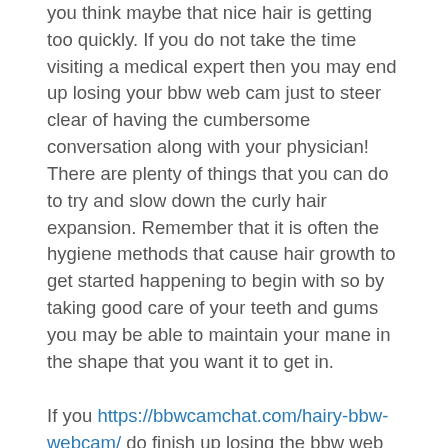you think maybe that nice hair is getting too quickly. If you do not take the time visiting a medical expert then you may end up losing your bbw web cam just to steer clear of having the cumbersome conversation along with your physician! There are plenty of things that you can do to try and slow down the curly hair expansion. Remember that it is often the hygiene methods that cause hair growth to get started happening to begin with so by taking good care of your teeth and gums you may be able to maintain your mane in the shape that you want it to get in.
If you https://bbwcamchat.com/hairy-bbw-webcam/ do finish up losing the bbw web cam then you definitely need to make sure that you don't replace it with an identical 1 so that your head of hair does not expand back more quickly. You may also want to put money into some anti-static wristbands to work with on your wrists when you go away. These wristbands work by